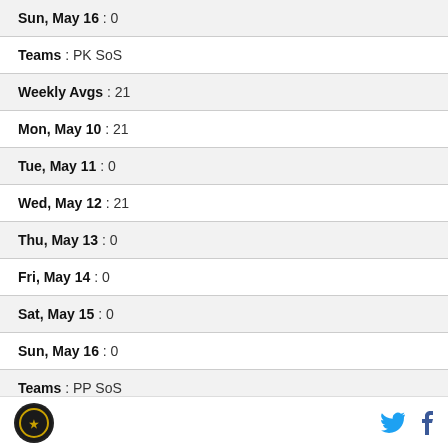Sun, May 16 : 0
Teams : PK SoS
Weekly Avgs : 21
Mon, May 10 : 21
Tue, May 11 : 0
Wed, May 12 : 21
Thu, May 13 : 0
Fri, May 14 : 0
Sat, May 15 : 0
Sun, May 16 : 0
Teams : PP SoS
logo | twitter | facebook